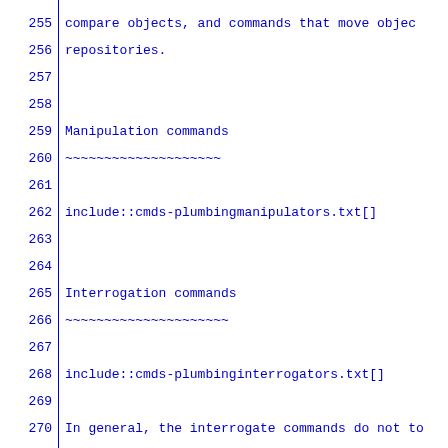255 | compare objects, and commands that move objects between repositories.
256 | repositories.
257 |
258 |
259 | Manipulation commands
260 | ~~~~~~~~~~~~~~~~~~~~
261 |
262 | include::cmds-plumbingmanipulators.txt[]
263 |
264 |
265 | Interrogation commands
266 | ~~~~~~~~~~~~~~~~~~~~~
267 |
268 | include::cmds-plumbinginterrogators.txt[]
269 |
270 | In general, the interrogate commands do not touch the working tree.
271 | the working tree.
272 |
273 |
274 | Syncing repositories
275 | ~~~~~~~~~~~~~~~~~~~~
276 |
277 | include::cmds-synchingrepositories.txt[]
278 |
279 | The following are helper commands used by the typically do not use them directly.
280 | typically do not use them directly.
281 |
282 | include::cmds-synchelpers.txt[]
283 |
284 |
285 | Internal helper commands